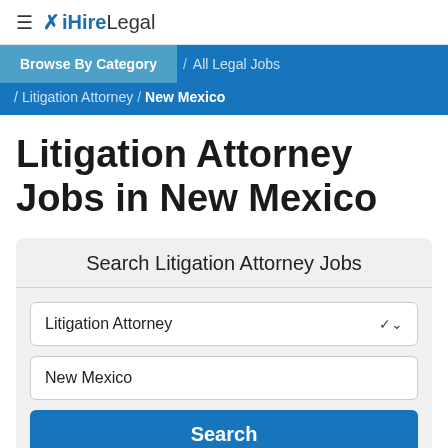≡ ✕ iHireLegal
Browse By Category / All Legal Jobs / Litigation Attorney / New Mexico
Litigation Attorney Jobs in New Mexico
Search Litigation Attorney Jobs
Litigation Attorney
New Mexico
Search